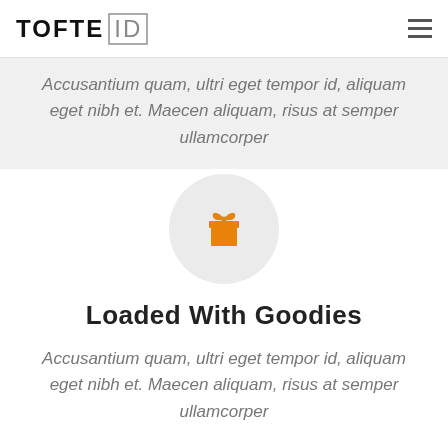TOFTE ID
Accusantium quam, ultri eget tempor id, aliquam eget nibh et. Maecen aliquam, risus at semper ullamcorper
[Figure (illustration): Orange gift box icon inside a light gray circle]
Loaded With Goodies
Accusantium quam, ultri eget tempor id, aliquam eget nibh et. Maecen aliquam, risus at semper ullamcorper